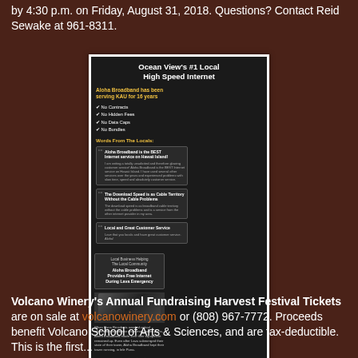by 4:30 p.m. on Friday, August 31, 2018. Questions? Contact Reid Sewake at 961-8311.
[Figure (infographic): Advertisement for Aloha Broadband - Ocean View's #1 Local High Speed Internet. Dark background ad with testimonials, photo of lava emergency, 5 stars, and phone number 808.929.7669.]
Volcano Winery's Annual Fundraising Harvest Festival Tickets are on sale at volcanowinery.com or (808) 967-7772. Proceeds benefit Volcano School of Arts & Sciences, and are tax-deductible. This is the first...